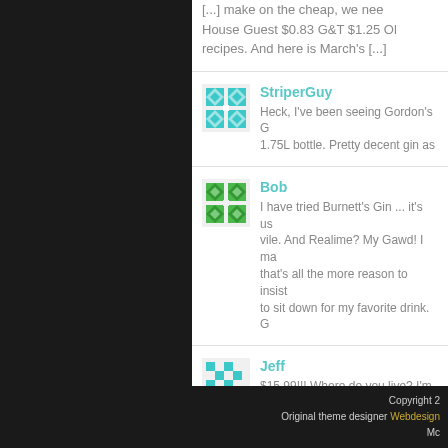[...] make on the cheap, we need House Guest $0.83 G&T $1.25 Ol recipes. And here is March's [...]
StriperGuy
Heck, I've been seeing Gordon's G 1.75L bottle. Pretty decent gin as
Bob
I have tried Burnett's Gin ... it's us vile. And Realime? My Gawd! I ma that's all the more reason to insist to sit down for my favorite drink. G
Jeff
$15.99!!! Where do you live? I'm li for a 1.75L. You are lucky.
Copyright 2
Original theme designer Webdesign Mc